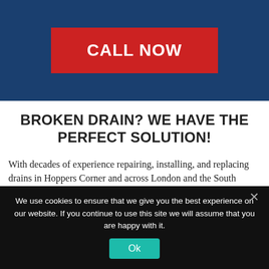[Figure (screenshot): Dark blue header band with a red 'CALL NOW' button centered within it]
BROKEN DRAIN? WE HAVE THE PERFECT SOLUTION!
With decades of experience repairing, installing, and replacing drains in Hoppers Corner and across London and the South
We use cookies to ensure that we give you the best experience on our website. If you continue to use this site we will assume that you are happy with it.
Ok